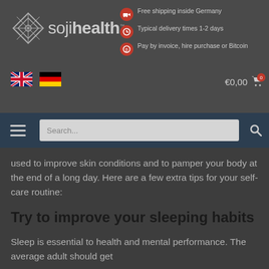[Figure (logo): Soji Health logo with geometric snowflake/diamond icon and brand name 'sojihealth']
Free shipping inside Germany
Typical delivery times 1-2 days
Pay by invoice, hire purchase or Bitcoin
[Figure (illustration): UK and German flag icons for language selection]
€0,00
[Figure (screenshot): Navigation bar with hamburger menu and search bar]
used to improve skin conditions and to pamper your body at the end of a long day. Here are a few extra tips for your self-care routine:
Try to improve your sleeping habits
Sleep is essential to health and mental performance. The average adult should get